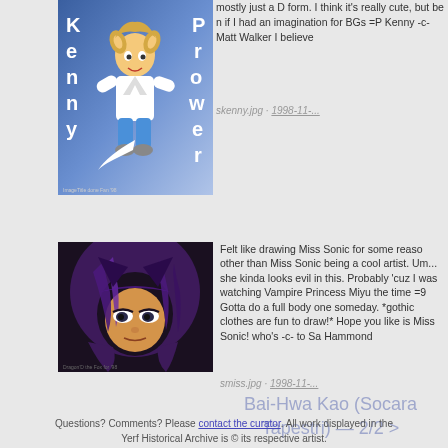[Figure (illustration): Cartoon furry character Kenny Prower on blue gradient background with character name letters K-e-n-n-y on left and P-r-o-w-e-r on right]
mostly just a D form. I think it's really cute, but be n if I had an imagination for BGs =P Kenny -c- Matt Walker I believe
skenny.jpg · 1998-11-...
[Figure (illustration): Anime-style dark purple-haired female character Miss Sonic with gothic look on dark background]
Felt like drawing Miss Sonic for some reaso other than Miss Sonic being a cool artist. Um... she kinda looks evil in this. Probably 'cuz I was watching Vampire Princess Miyu the time =9 Gotta do a full body one someday. *gothic clothes are fun to draw!* Hope you like is Miss Sonic! who's -c- to Sa Hammond
smiss.jpg · 1998-11-...
Bai-Hwa Kao (Socara Tapestri) — 2/2 >
Questions? Comments? Please contact the curator. All work displayed in the Yerf Historical Archive is © its respective artist.